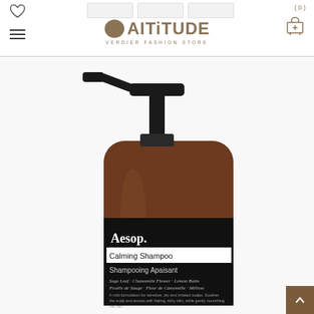AITiTUDE VERDIER FASHION STORE
[Figure (photo): Aesop Calming Shampoo bottle (amber glass pump bottle) with black label showing product name 'Calming Shampoo / Shampooing Apaisant', ingredients including Sage Leaf, Chamomile Flower, Lemon Balm, and bilingual product description text in English and French.]